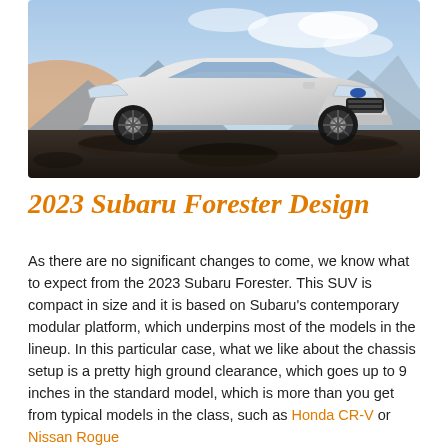[Figure (photo): White 2023 Subaru Forester SUV parked on rocky terrain with mountains and blue sky in the background, viewed from a front three-quarter angle.]
2023 Subaru Forester Design
As there are no significant changes to come, we know what to expect from the 2023 Subaru Forester. This SUV is compact in size and it is based on Subaru's contemporary modular platform, which underpins most of the models in the lineup. In this particular case, what we like about the chassis setup is a pretty high ground clearance, which goes up to 9 inches in the standard model, which is more than you get from typical models in the class, such as Honda CR-V or Nissan Rogue.